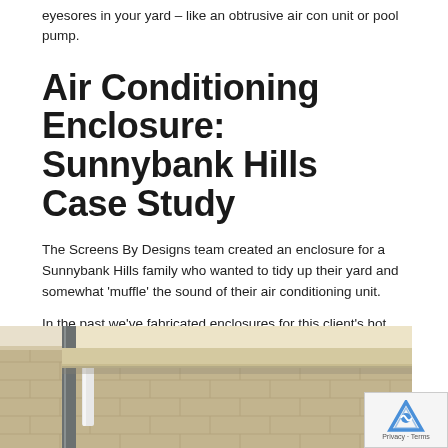eyesores in your yard – like an obtrusive air con unit or pool pump.
Air Conditioning Enclosure: Sunnybank Hills Case Study
The Screens By Designs team created an enclosure for a Sunnybank Hills family who wanted to tidy up their yard and somewhat 'muffle' the sound of their air conditioning unit.
In the past we've fabricated enclosures for this client's hot water system and smaller air conditioning units, so the client opted for the same overall appearance.
The project specs for this job were:
Slat screens made from 3mm aluminium
Powder coated with the colour Windspray
Custom designed and fabricated in line with past jobs
[Figure (photo): Photo of an air conditioning enclosure installation showing metal slat screens, piping, and brick wall exterior of a house]